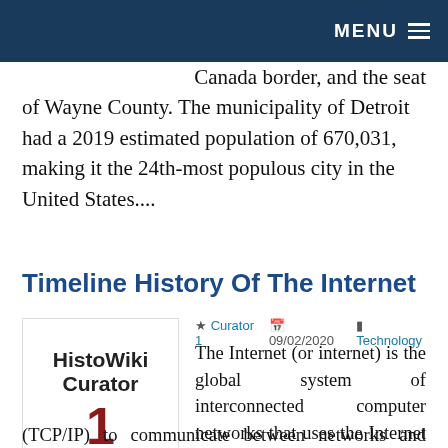MENU
Canada border, and the seat of Wayne County. The municipality of Detroit had a 2019 estimated population of 670,031, making it the 24th-most populous city in the United States....
Timeline History Of The Internet
[Figure (logo): HistoWiki Curator 1 logo with black text and red number 1]
Curator 1  09/02/2020  Technology
The Internet (or internet) is the global system of interconnected computer networks that uses the Internet protocol suite (TCP/IP) to communicate between networks and devices. It is a network of networks that consists...